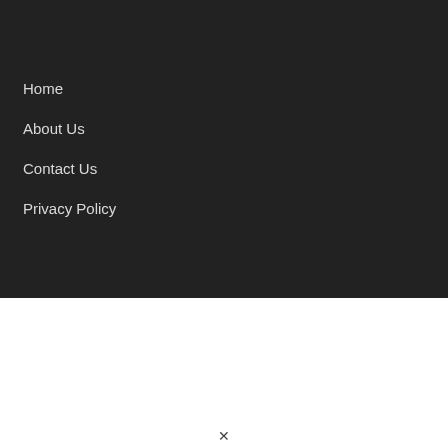Home
About Us
Contact Us
Privacy Policy